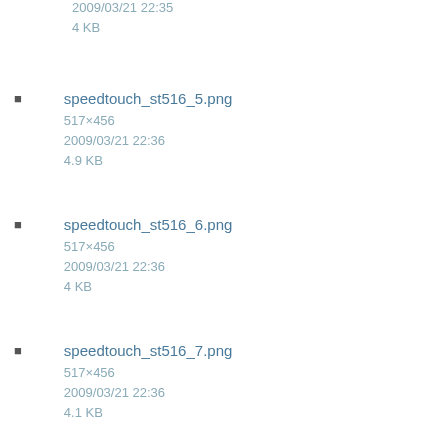2009/03/21 22:35
4 KB
speedtouch_st516_5.png
517×456
2009/03/21 22:36
4.9 KB
speedtouch_st516_6.png
517×456
2009/03/21 22:36
4 KB
speedtouch_st516_7.png
517×456
2009/03/21 22:36
4.1 KB
speedtouch_st516_8.png
517×456
2009/03/21 22:36
5.2 KB